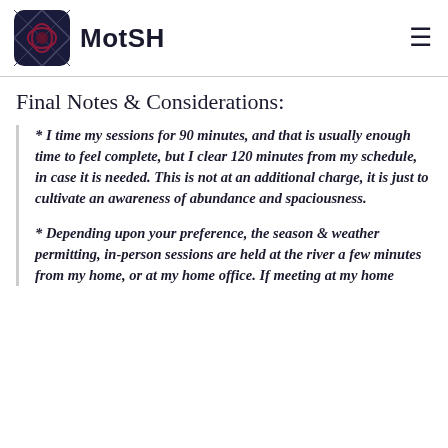MotSH
Final Notes & Considerations:
* I time my sessions for 90 minutes, and that is usually enough time to feel complete, but I clear 120 minutes from my schedule, in case it is needed. This is not at an additional charge, it is just to cultivate an awareness of abundance and spaciousness.
* Depending upon your preference, the season & weather permitting, in-person sessions are held at the river a few minutes from my home, or at my home office. If meeting at my home